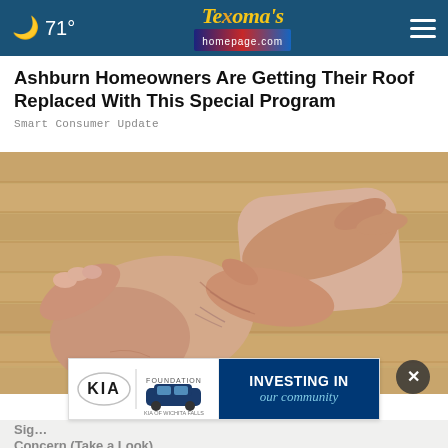🌙 71° | Texoma's homepage.com
Ashburn Homeowners Are Getting Their Roof Replaced With This Special Program
Smart Consumer Update
[Figure (photo): Close-up photo of an elderly person's foot and ankle being held/examined by hands, placed on a wooden floor background.]
[Figure (infographic): Advertisement banner: Kia Foundation - Kia of Wichita Falls - INVESTING IN our community]
Sig... (partial)
Concern (Take a Look)